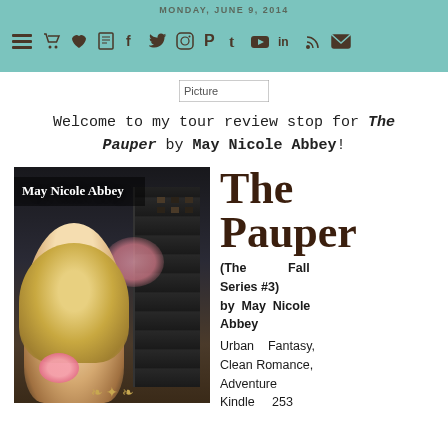MONDAY, JUNE 9, 2014
[Figure (screenshot): Navigation bar with teal background showing hamburger menu, shopping cart, heart, book, social media icons (Facebook, Twitter, Instagram, Pinterest, Tumblr, YouTube, LinkedIn, RSS, email)]
[Figure (photo): Placeholder image labeled 'Picture']
Welcome to my tour review stop for The Pauper by May Nicole Abbey!
[Figure (photo): Book cover for The Pauper by May Nicole Abbey showing a blonde woman in vintage style clothing with a dark city building in the background]
The Pauper
(The Fall Series #3) by May Nicole Abbey
Urban Fantasy, Clean Romance, Adventure
Kindle  253